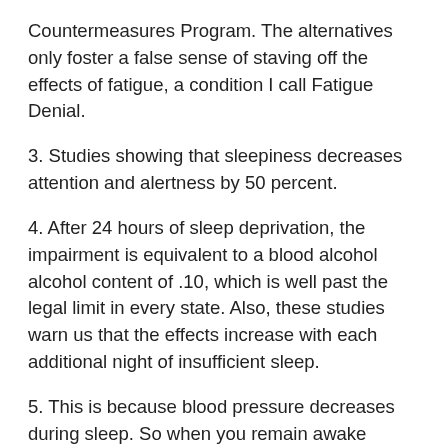Countermeasures Program. The alternatives only foster a false sense of staving off the effects of fatigue, a condition I call Fatigue Denial.
3. Studies showing that sleepiness decreases attention and alertness by 50 percent.
4. After 24 hours of sleep deprivation, the impairment is equivalent to a blood alcohol alcohol content of .10, which is well past the legal limit in every state. Also, these studies warn us that the effects increase with each additional night of insufficient sleep.
5. This is because blood pressure decreases during sleep. So when you remain awake longer than normal, your blood pressure remains higher than normal. Our immune system suffers, too, since the number of natural killer cells created by our bodies to fight off invaders is